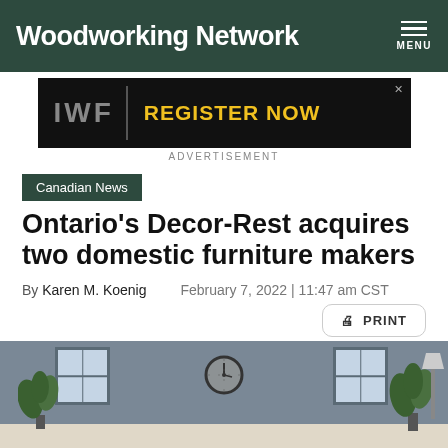Woodworking Network
[Figure (screenshot): IWF advertisement banner with 'REGISTER NOW' text in yellow on black background]
ADVERTISEMENT
Canadian News
Ontario's Decor-Rest acquires two domestic furniture makers
By Karen M. Koenig   February 7, 2022 | 11:47 am CST
[Figure (photo): Interior room photo showing plants, windows, and a wall clock against a grey wall]